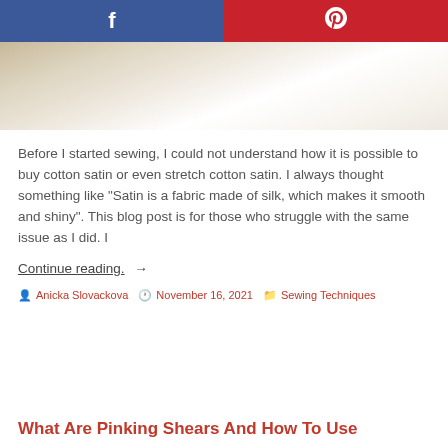[Figure (screenshot): Social media share bar with Facebook (blue) and Pinterest (red) buttons at top]
[Figure (photo): Close-up photo of white and cream colored satin fabric]
Before I started sewing, I could not understand how it is possible to buy cotton satin or even stretch cotton satin. I always thought something like "Satin is a fabric made of silk, which makes it smooth and shiny". This blog post is for those who struggle with the same issue as I did. I
Continue reading. →
Anicka Slovackova  November 16, 2021  Sewing Techniques
What Are Pinking Shears And How To Use